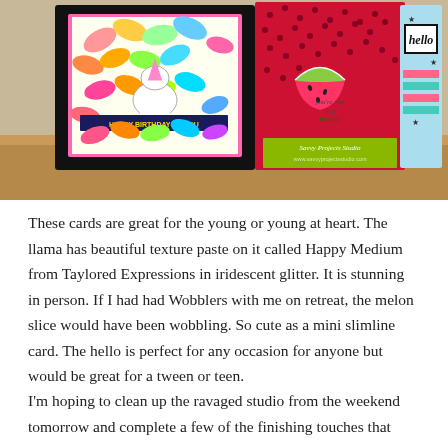[Figure (photo): Three handmade greeting cards displayed on a wooden surface: a llama birthday card with rainbow leaf background and 'HAPPY BIRTHDAY TO YOU' banner, a watermelon slice mini slimline card on red polka dot background with 'you're one in a melon' sentiment, and a 'hello' card with teal and pink stripes and star embellishments. Savvy Projects Studio watermark at bottom.]
These cards are great for the young or young at heart. The llama has beautiful texture paste on it called Happy Medium from Taylored Expressions in iridescent glitter. It is stunning in person. If I had had Wobblers with me on retreat, the melon slice would have been wobbling. So cute as a mini slimline card. The hello is perfect for any occasion for anyone but would be great for a tween or teen.
I'm hoping to clean up the ravaged studio from the weekend tomorrow and complete a few of the finishing touches that